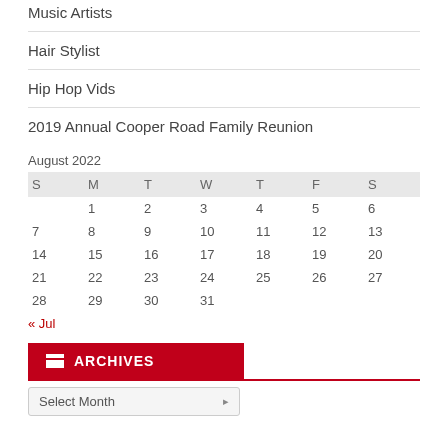Music Artists
Hair Stylist
Hip Hop Vids
2019 Annual Cooper Road Family Reunion
| S | M | T | W | T | F | S |
| --- | --- | --- | --- | --- | --- | --- |
|  | 1 | 2 | 3 | 4 | 5 | 6 |
| 7 | 8 | 9 | 10 | 11 | 12 | 13 |
| 14 | 15 | 16 | 17 | 18 | 19 | 20 |
| 21 | 22 | 23 | 24 | 25 | 26 | 27 |
| 28 | 29 | 30 | 31 |  |  |  |
« Jul
ARCHIVES
Select Month